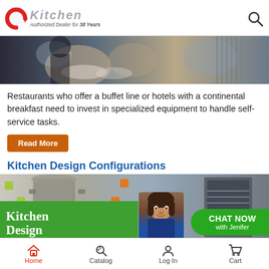CKitchen — Authorized Dealer for 38 Years
[Figure (photo): Blurred close-up of buffet/restaurant equipment on a counter, with plates and stainless steel items visible]
Restaurants who offer a buffet line or hotels with a continental breakfast need to invest in specialized equipment to handle self-service tasks.
Read More
Kitchen Design Configurations
[Figure (photo): Commercial kitchen with large steel pots and colorful tile accents. Green banner overlay reads 'Kitchen Design' with a CHAT NOW with Jenifer button on the right featuring a woman's photo.]
Home | Catalog | Log In | Cart